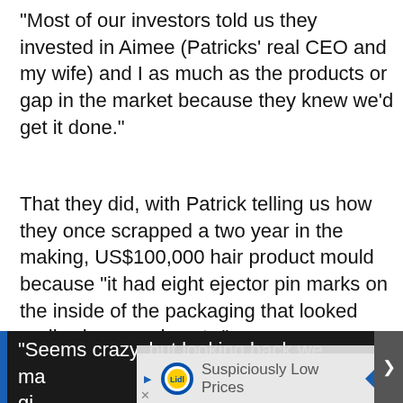“Most of our investors told us they invested in Aimee (Patricks’ real CEO and my wife) and I as much as the products or gap in the market because they knew we’d get it done.”
That they did, with Patrick telling us how they once scrapped a two year in the making, US$100,000 hair product mould because “it had eight ejector pin marks on the inside of the packaging that looked really cheap and nasty.”
“Seems crazy, but looking back we ma... ys gi... lo...
[Figure (screenshot): Two advertisement banners overlaying the bottom portion of the page: one for Lidl 'Suspiciously Low Prices' and one for Walgreens Photo 'Summer's Here. Shop Sun Care'.]